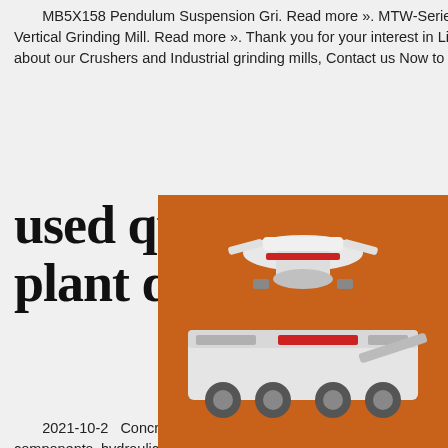MB5X158 Pendulum Suspension Gri. Read more ». MTW-Series European Tech. Grind. Read more ». VM - Vertical Grinding Mill. Read more ». Thank you for your interest in Liming Heavy Industry. If you want to learn more about our Crushers and Industrial grinding mills, Contact us Now to find out what we can do for you next project !
used quarry crush plant dubai price
[Figure (photo): Orange sidebar banner showing industrial crushing and grinding machinery with 'Enjoy 3% discount' and 'Click to Chat' buttons, Enquiry section, and email limingjlmofen@sina.com]
2021-10-2   Concrete mixing plant also m concrete batching plant is widely used in com concrete mixing pile, components, hydraulic, m other concrete centralized stirring places.
<< Previous:Limeston Crushing Line In Algeria
>> Next:Crushing And Grinding Production For Ceramic